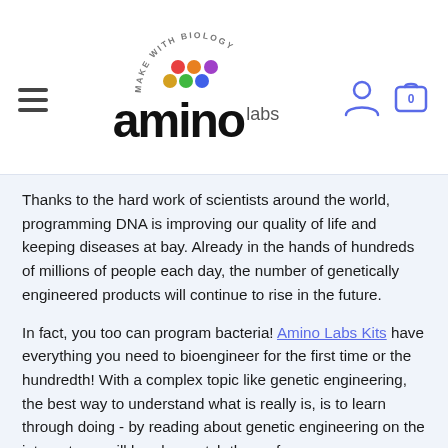amino labs - Make With Biology
Thanks to the hard work of scientists around the world, programming DNA is improving our quality of life and keeping diseases at bay. Already in the hands of hundreds of millions of people each day, the number of genetically engineered products will continue to rise in the future.
In fact, you too can program bacteria! Amino Labs Kits have everything you need to bioengineer for the first time or the hundredth! With a complex topic like genetic engineering, the best way to understand what is really is, is to learn through doing - by reading about genetic engineering on the internet you will barely scratch the surface.
Learn about the DNA Playground and Kits: